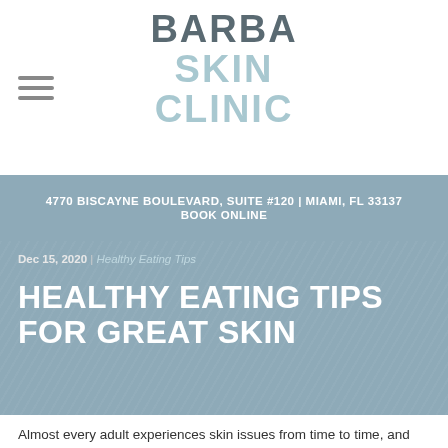BARBA SKIN CLINIC
4770 BISCAYNE BOULEVARD, SUITE #120 | MIAMI, FL 33137
BOOK ONLINE
Dec 15, 2020 | Healthy Eating Tips
HEALTHY EATING TIPS FOR GREAT SKIN
Almost every adult experiences skin issues from time to time, and sometimes issues are ongoing. Whether you are battling wrinkles, desire glowing skin, or want to fight off acne, there are healthy